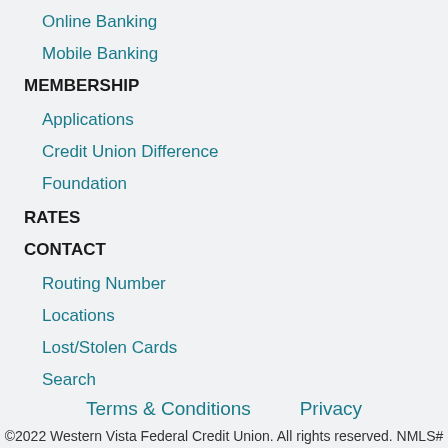Online Banking
Mobile Banking
MEMBERSHIP
Applications
Credit Union Difference
Foundation
RATES
CONTACT
Routing Number
Locations
Lost/Stolen Cards
Search
Terms & Conditions     Privacy
©2022 Western Vista Federal Credit Union. All rights reserved. NMLS# 431448. Site by West Edge Collective.